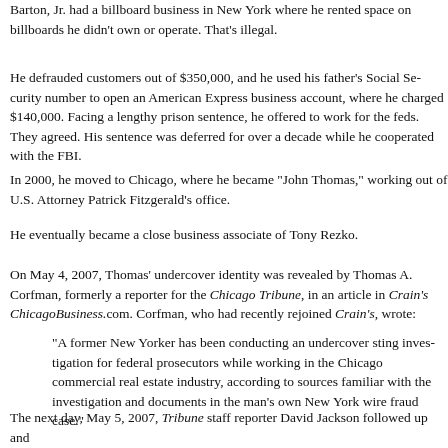Barton, Jr. had a billboard business in New York where he rented space on billboards he didn't own or operate. That's illegal.
He defrauded customers out of $350,000, and he used his father's Social Security number to open an American Express business account, where he charged $140,000. Facing a lengthy prison sentence, he offered to work for the feds. They agreed. His sentence was deferred for over a decade while he cooperated with the FBI.
In 2000, he moved to Chicago, where he became "John Thomas," working out of U.S. Attorney Patrick Fitzgerald's office.
He eventually became a close business associate of Tony Rezko.
On May 4, 2007, Thomas' undercover identity was revealed by Thomas A. Corfman, formerly a reporter for the Chicago Tribune, in an article in Crain's ChicagoBusiness.com. Corfman, who had recently rejoined Crain's, wrote:
"A former New Yorker has been conducting an undercover sting investigation for federal prosecutors while working in the Chicago commercial real estate industry, according to sources familiar with the investigation and documents in the man's own New York wire fraud case."
The next day, May 5, 2007, Tribune staff reporter David Jackson followed up and reported further on Thomas' undercover activities. Wonder how the Trib could follow up on Corfman's outing of Thomas? Here's how:
The Trib had known of Thomas' mole role for a year. In his May 5 piece, Ja